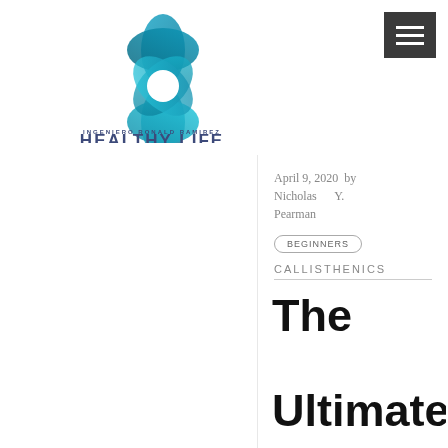[Figure (logo): Ingeniero Ronald Ramirez Healthy Life logo — teal flower/petal shape with brand name text below]
April 9, 2020  by Nicholas Y. Pearman
BEGINNERS
CALLISTHENICS
The Ultimate Beginner